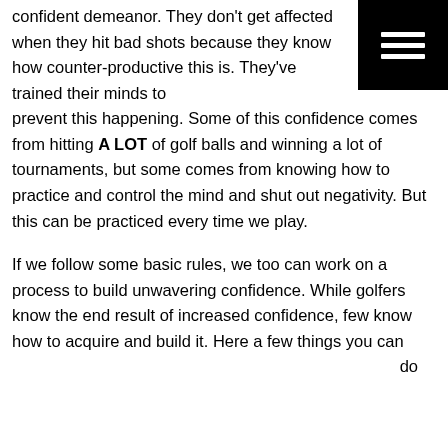[Figure (other): Black square with three horizontal white lines (hamburger/menu icon) in the top-right corner]
confident demeanor. They don't get affected when they hit bad shots because they know how counter-productive this is. They've trained their minds to prevent this happening. Some of this confidence comes from hitting A LOT of golf balls and winning a lot of tournaments, but some comes from knowing how to practice and control the mind and shut out negativity. But this can be practiced every time we play.

If we follow some basic rules, we too can work on a process to build unwavering confidence. While golfers know the end result of increased confidence, few know how to acquire and build it. Here a few things you can do